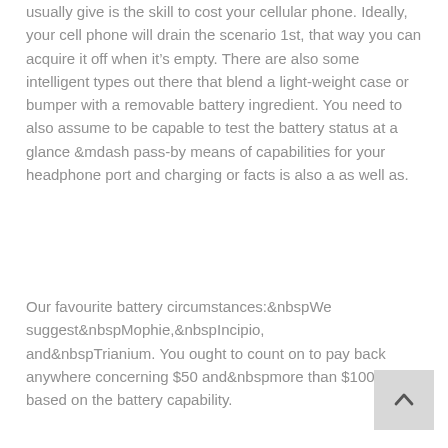usually give is the skill to cost your cellular phone. Ideally, your cell phone will drain the scenario 1st, that way you can acquire it off when it&rsquos empty. There are also some intelligent types out there that blend a light-weight case or bumper with a removable battery ingredient. You need to also assume to be capable to test the battery status at a glance &mdash pass-by means of capabilities for your headphone port and charging or facts is also a as well as.
Our favourite battery circumstances:&nbspWe suggest&nbspMophie,&nbspIncipio, and&nbspTrianium. You ought to count on to pay back anywhere concerning $50 and&nbspmore than $100, based on the battery capability.